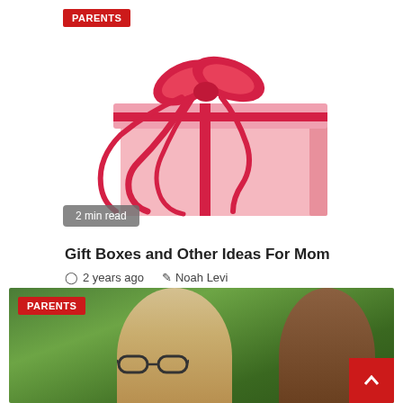[Figure (photo): A pink gift box with red ribbon and bow on white background, with a 'PARENTS' badge in top-left and a '2 min read' badge in bottom-left]
Gift Boxes and Other Ideas For Mom
2 years ago   Noah Levi
[Figure (photo): Two children outdoors with green foliage background, one wearing glasses facing forward, one with back turned; 'PARENTS' badge in top-left corner]